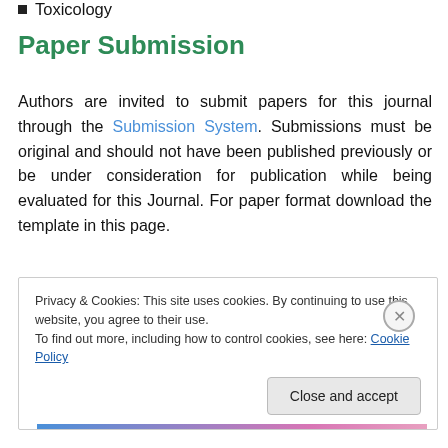Toxicology
Paper Submission
Authors are invited to submit papers for this journal through the Submission System. Submissions must be original and should not have been published previously or be under consideration for publication while being evaluated for this Journal. For paper format download the template in this page.
Privacy & Cookies: This site uses cookies. By continuing to use this website, you agree to their use.
To find out more, including how to control cookies, see here: Cookie Policy